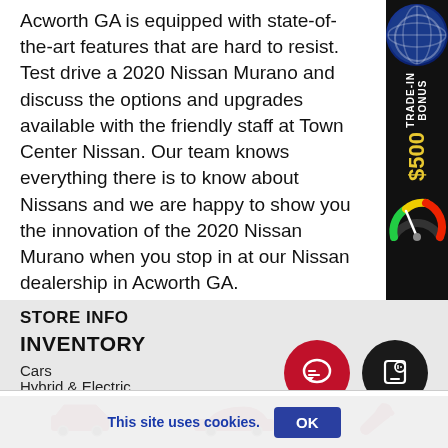Acworth GA is equipped with state-of-the-art features that are hard to resist. Test drive a 2020 Nissan Murano and discuss the options and upgrades available with the friendly staff at Town Center Nissan. Our team knows everything there is to know about Nissans and we are happy to show you the innovation of the 2020 Nissan Murano when you stop in at our Nissan dealership in Acworth GA.
[Figure (infographic): $500 Trade-In Bonus side banner with globe icon and gauge]
STORE INFO
INVENTORY
Cars
Hybrid & Electric
[Figure (infographic): Bottom icon bar with SUV, sedan, and wrench icons; red chat bubble button; black device chat button]
This site uses cookies.